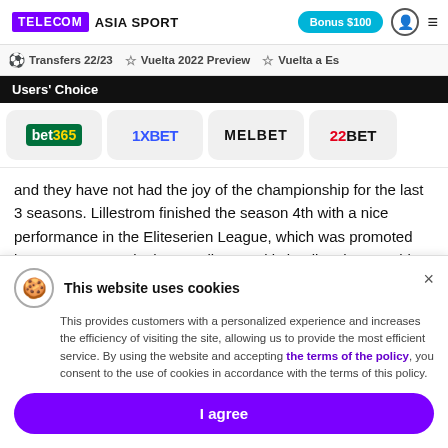TELECOM ASIA SPORT | Bonus $100
Transfers 22/23 | Vuelta 2022 Preview | Vuelta a Es
Users' Choice
[Figure (logo): Bookmaker logos: bet365, 1XBET, MELBET, 22BET]
and they have not had the joy of the championship for the last 3 seasons. Lillestrom finished the season 4th with a nice performance in the Eliteserien League, which was promoted last season. Next in the standings and is leading the way this season, scoring 24 points in 10 weeks.
This website uses cookies. This provides customers with a personalized experience and increases the efficiency of visiting the site, allowing us to provide the most efficient service. By using the website and accepting the terms of the policy, you consent to the use of cookies in accordance with the terms of this policy.
I agree